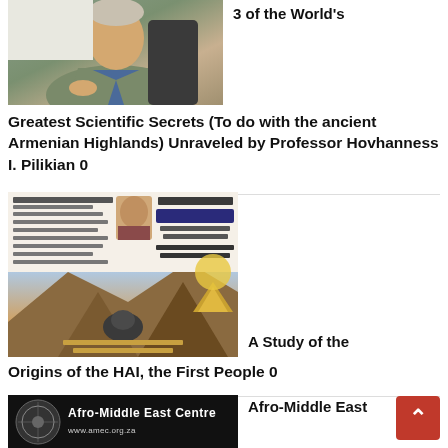[Figure (photo): Photo of a man in a tan jacket seated, gesturing with hands, in a classroom or lecture setting]
3 of the World's
Greatest Scientific Secrets (To do with the ancient Armenian Highlands) Unraveled by Professor Hovhanness I. Pilikian 0
[Figure (photo): Book cover image for 'A Study of the Origins of the HAI, the First People' by Professor Hovhanness I. Pilikian]
A Study of the
Origins of the HAI, the First People 0
[Figure (logo): Afro-Middle East Centre logo with dark background and white text]
Afro-Middle East